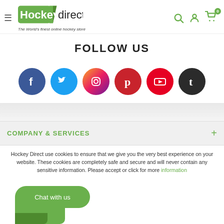[Figure (logo): Hockey Direct logo with green tab shape containing 'Hockey' in white and 'direct' in dark text, tagline 'The World's finest online hockey store' in italic below]
FOLLOW US
[Figure (infographic): Six social media icons in colored circles: Facebook (blue), Twitter (light blue), Instagram (pink/purple gradient), Pinterest (red), YouTube (red), Tumblr (dark gray)]
COMPANY & SERVICES
Hockey Direct use cookies to ensure that we give you the very best experience on your website. These cookies are completely safe and secure and will never contain any sensitive information. Please accept or click for more information
[Figure (illustration): Green chat bubble button with text 'Chat with us']